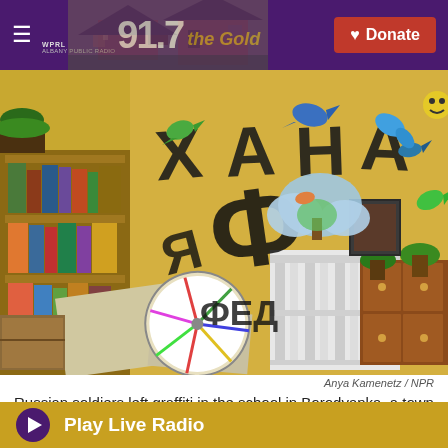WPRL 91.7 the Gold — Donate
[Figure (photo): Interior of a school room in Borodyanka, Ukraine. Yellow walls covered in Russian graffiti (Cyrillic letters ХАНА and other markings). Overturned furniture, scattered papers, children's art decorations still on walls, bookshelves with supplies, potted plants on a wooden cabinet.]
Anya Kamenetz / NPR
Russian soldiers left graffiti in the school in Borodyanka, a town outside of Ukraine's capital Kyiv.
Play Live Radio